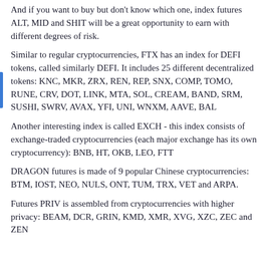And if you want to buy but don't know which one, index futures ALT, MID and SHIT will be a great opportunity to earn with different degrees of risk.
Similar to regular cryptocurrencies, FTX has an index for DEFI tokens, called similarly DEFI. It includes 25 different decentralized tokens: KNC, MKR, ZRX, REN, REP, SNX, COMP, TOMO, RUNE, CRV, DOT, LINK, MTA, SOL, CREAM, BAND, SRM, SUSHI, SWRV, AVAX, YFI, UNI, WNXM, AAVE, BAL
Another interesting index is called EXCH - this index consists of exchange-traded cryptocurrencies (each major exchange has its own cryptocurrency): BNB, HT, OKB, LEO, FTT
DRAGON futures is made of 9 popular Chinese cryptocurrencies: BTM, IOST, NEO, NULS, ONT, TUM, TRX, VET and ARPA.
Futures PRIV is assembled from cryptocurrencies with higher privacy: BEAM, DCR, GRIN, KMD, XMR, XVG, XZC, ZEC and ZEN